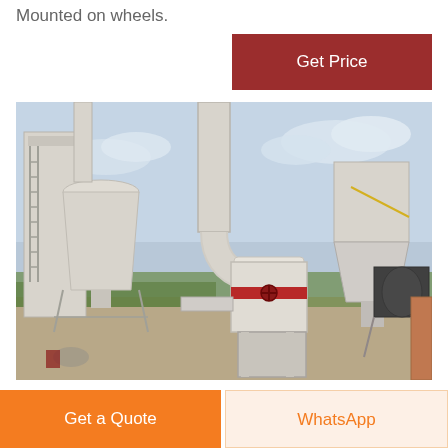Mounted on wheels.
[Figure (photo): Industrial grinding mill equipment installation outdoors, showing white cylindrical mill body with red accent band, connected pipes, cyclone separators, and support structures against a cloudy sky background.]
Get Price
Get a Quote
WhatsApp